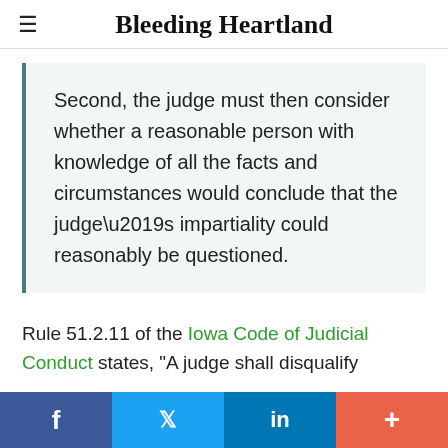Bleeding Heartland
Second, the judge must then consider whether a reasonable person with knowledge of all the facts and circumstances would conclude that the judge’s impartiality could reasonably be questioned.
Rule 51.2.11 of the Iowa Code of Judicial Conduct states, "A judge shall disqualify